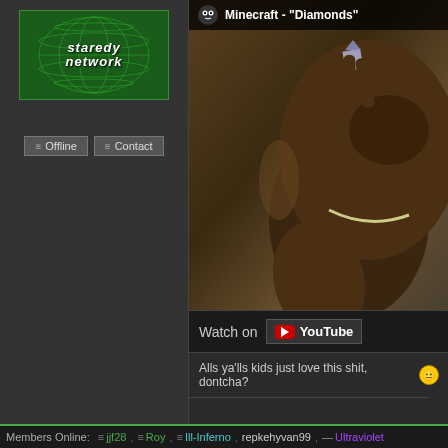[Figure (logo): Staredy Network logo - white stylized text on green globe/grid background]
— Offline  ≡ Contact
[Figure (screenshot): YouTube embedded video titled Minecraft - Diamonds showing a person holding something up close to their face]
Watch on YouTube
Alls ya'lls kids just love this shit, dontcha? 😐
Members Online: ≡ jjf28, ≡ Roy, ≡ Ill-Inferno, repkehyvan99, — Ultraviolet